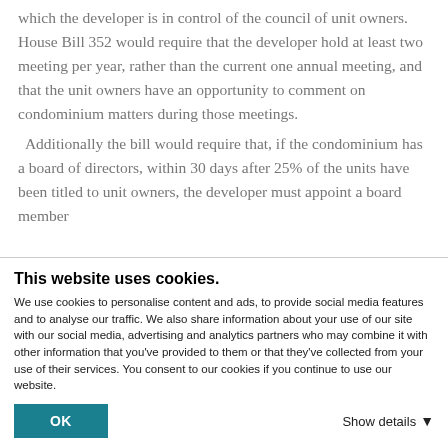which the developer is in control of the council of unit owners.  House Bill 352 would require that the developer hold at least two meeting per year, rather than the current one annual meeting, and that the unit owners have an opportunity to comment on condominium matters during those meetings.  Additionally the bill would require that, if the condominium has a board of directors, within 30 days after 25% of the units have been titled to unit owners, the developer must appoint a board member who is a unit owner and not otherwise affiliated
This website uses cookies.
We use cookies to personalise content and ads, to provide social media features and to analyse our traffic. We also share information about your use of our site with our social media, advertising and analytics partners who may combine it with other information that you've provided to them or that they've collected from your use of their services. You consent to our cookies if you continue to use our website.